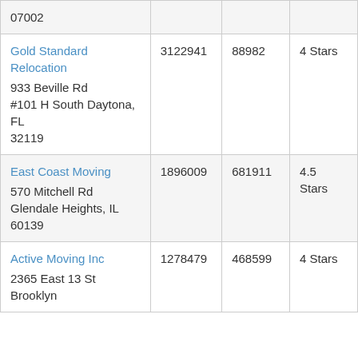| 07002 |  |  |  |
| Gold Standard Relocation
933 Beville Rd #101 H South Daytona, FL 32119 | 3122941 | 88982 | 4 Stars |
| East Coast Moving
570 Mitchell Rd Glendale Heights, IL 60139 | 1896009 | 681911 | 4.5 Stars |
| Active Moving Inc
2365 East 13 St Brooklyn | 1278479 | 468599 | 4 Stars |